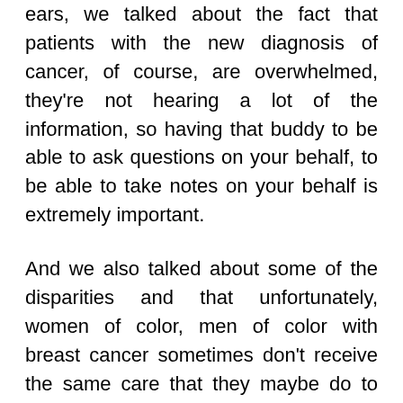ears, we talked about the fact that patients with the new diagnosis of cancer, of course, are overwhelmed, they're not hearing a lot of the information, so having that buddy to be able to ask questions on your behalf, to be able to take notes on your behalf is extremely important.
And we also talked about some of the disparities and that unfortunately, women of color, men of color with breast cancer sometimes don't receive the same care that they maybe do to access issues, but it also may be due to bias among the providers that are treating us or lack of knowledge about the differences and how breast cancer presents in